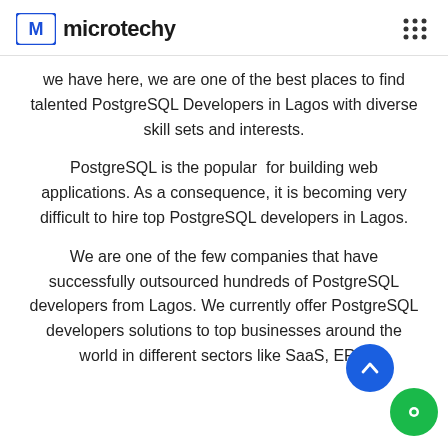microtechy
we have here, we are one of the best places to find talented PostgreSQL Developers in Lagos with diverse skill sets and interests.
PostgreSQL is the popular  for building web applications. As a consequence, it is becoming very difficult to hire top PostgreSQL developers in Lagos.
We are one of the few companies that have successfully outsourced hundreds of PostgreSQL developers from Lagos. We currently offer PostgreSQL developers solutions to top businesses around the world in different sectors like SaaS, ERP,